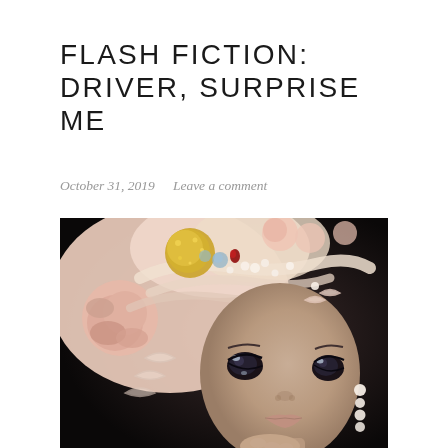FLASH FICTION: DRIVER, SURPRISE ME
October 31, 2019   Leave a comment
[Figure (photo): Close-up photograph of an ornate porcelain-like doll with an elaborate pink and cream headdress decorated with roses, pearls, gold accents, and gemstones. The doll has large, detailed dark eyes, delicate facial features, and is wearing pearl earrings, with one hand raised near the chin.]